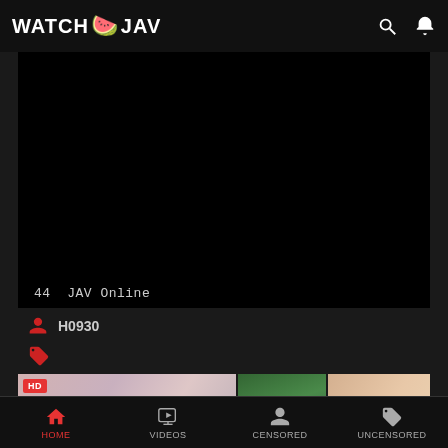WATCH JAV
[Figure (screenshot): Black video player area]
44  JAV Online
H0930
[Figure (photo): Thumbnail strip showing video thumbnails with HD badge]
HOME  VIDEOS  CENSORED  UNCENSORED